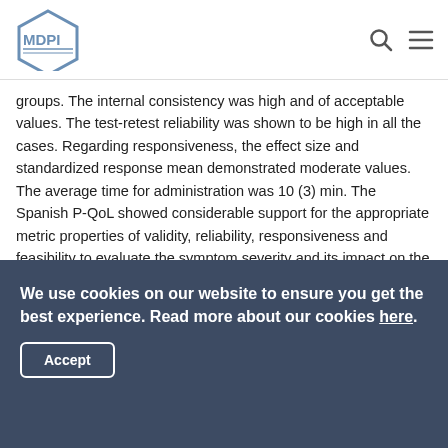MDPI
groups. The internal consistency was high and of acceptable values. The test-retest reliability was shown to be high in all the cases. Regarding responsiveness, the effect size and standardized response mean demonstrated moderate values. The average time for administration was 10 (3) min. The Spanish P-QoL showed considerable support for the appropriate metric properties of validity, reliability, responsiveness and feasibility to evaluate the symptom severity and its impact on the quality of life in Spanish women with urogenital prolapse. View Full-Text
Keywords: Spanish validation; pelvic organ prolapse; quality of life; P-QoL; validity; reliability; responsiveness
© This is an open access article distributed under the Creative
We use cookies on our website to ensure you get the best experience. Read more about our cookies here.
Accept